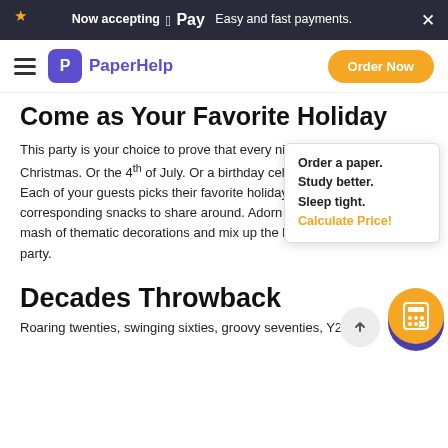Now accepting Apple Pay  Easy and fast payments.
PaperHelp  Order Now
Come as Your Favorite Holiday
This party is your choice to prove that every night is Halloween. Or Christmas. Or the 4th of July. Or a birthday celebration. Take your pick! Each of your guests picks their favorite holiday and brings a bag of corresponding snacks to share around. Adorn the room with a mish-mash of thematic decorations and mix up the holiday playlists for the party.
Order a paper. Study better. Sleep tight. Calculate Price!
Decades Throwback
Roaring twenties, swinging sixties, groovy seventies, Y2K –